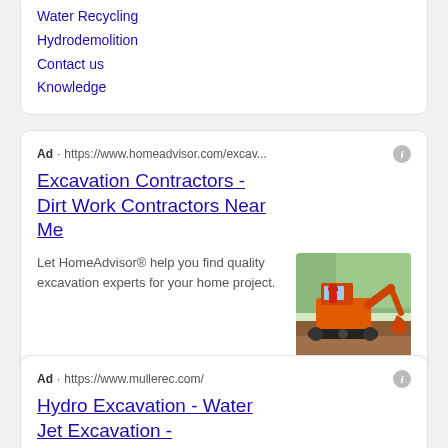Water Recycling
Hydrodemolition
Contact us
Knowledge
Ad · https://www.homeadvisor.com/excav...
Excavation Contractors - Dirt Work Contractors Near Me
Let HomeAdvisor® help you find quality excavation experts for your home project.
[Figure (photo): Orange mini excavator operating on a dirt site outdoors]
Ad · https://www.mullerec.com/
Hydro Excavation - Water Jet Excavation - mullerec.com